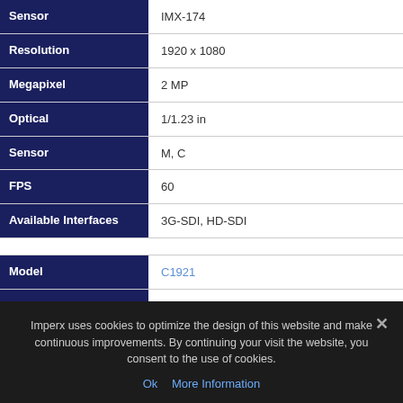| Attribute | Value |
| --- | --- |
| Sensor | IMX-174 |
| Resolution | 1920 x 1080 |
| Megapixel | 2 MP |
| Optical | 1/1.23 in |
| Sensor | M, C |
| FPS | 60 |
| Available Interfaces | 3G-SDI, HD-SDI |
| Model | C1921 |
| Type | CMOS |
Imperx uses cookies to optimize the design of this website and make continuous improvements. By continuing your visit the website, you consent to the use of cookies.
Ok   More Information